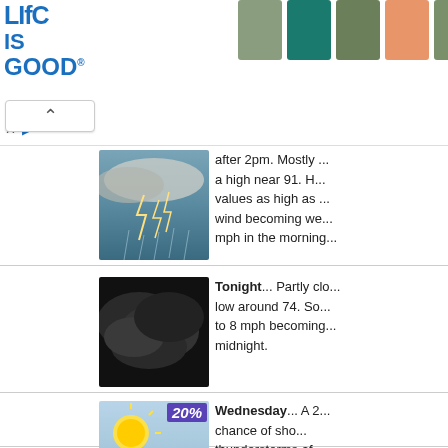[Figure (screenshot): Life Is Good brand advertisement banner with logo and colored t-shirts]
[Figure (photo): Lightning storm dark sky photo (truncated top)]
after 2pm. Mostly ... a high near 91. ... values as high as ... wind becoming we... mph in the morning
[Figure (photo): Dark stormy cloudy sky photo for Tonight forecast]
Tonight... Partly clo... low around 74. So... to 8 mph becoming... midnight.
[Figure (photo): Wednesday weather icon: partly sunny with thunderstorm, 20% badge]
Wednesday... A 2... chance of show... thunderstorms af... Mostly sunny, with a... 92. West wind 3 to 7...